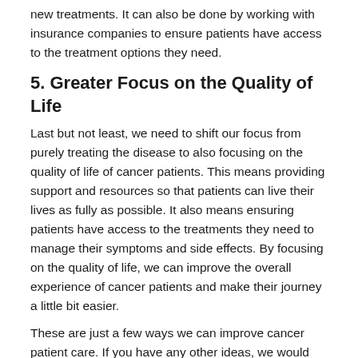new treatments. It can also be done by working with insurance companies to ensure patients have access to the treatment options they need.
5. Greater Focus on the Quality of Life
Last but not least, we need to shift our focus from purely treating the disease to also focusing on the quality of life of cancer patients. This means providing support and resources so that patients can live their lives as fully as possible. It also means ensuring patients have access to the treatments they need to manage their symptoms and side effects. By focusing on the quality of life, we can improve the overall experience of cancer patients and make their journey a little bit easier.
These are just a few ways we can improve cancer patient care. If you have any other ideas, we would